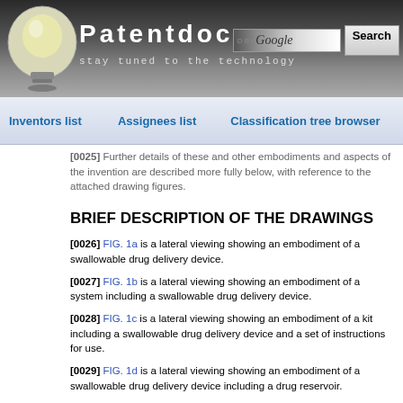[Figure (logo): Patentdocs website header with lightbulb logo, site name 'Patentdocs', tagline 'stay tuned to the technology', and Google search box]
Inventors list   Assignees list   Classification tree browser
[0025] Further details of these and other embodiments and aspects of the invention are described more fully below, with reference to the attached drawing figures.
BRIEF DESCRIPTION OF THE DRAWINGS
[0026] FIG. 1a is a lateral viewing showing an embodiment of a swallowable drug delivery device.
[0027] FIG. 1b is a lateral viewing showing an embodiment of a system including a swallowable drug delivery device.
[0028] FIG. 1c is a lateral viewing showing an embodiment of a kit including a swallowable drug delivery device and a set of instructions for use.
[0029] FIG. 1d is a lateral viewing showing an embodiment of a swallowable drug delivery device including a drug reservoir.